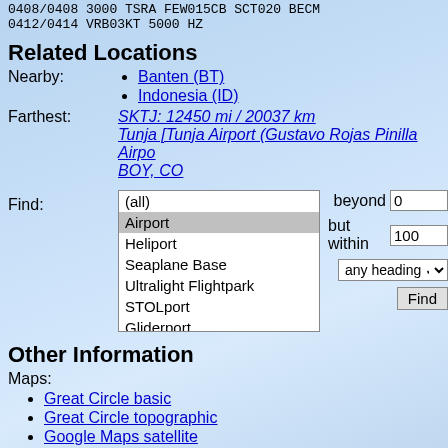0408/0408 3000 TSRA FEW015CB SCT020 BEC...
0412/0414 VRB03KT 5000 HZ
Related Locations
Nearby:
Banten (BT)
Indonesia (ID)
Farthest: SKTJ: 12450 mi / 20037 km Tunja [Tunja Airport (Gustavo Rojas Pinilla Airpo... BOY, CO
Find: (all) Airport Heliport Seaplane Base Ultralight Flightpark STOLport Gliderport beyond 0 but within 100 any heading Find
Other Information
Maps:
Great Circle basic
Great Circle topographic
Google Maps satellite
Multimap
Links: